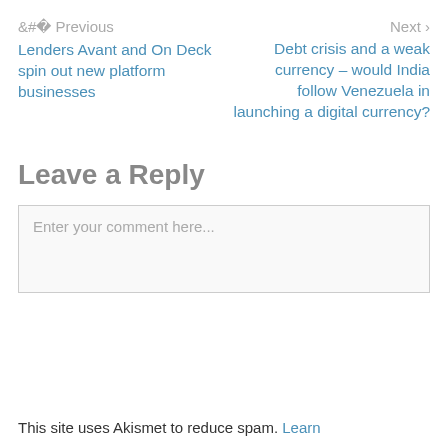< Previous
Lenders Avant and On Deck spin out new platform businesses
Next >
Debt crisis and a weak currency – would India follow Venezuela in launching a digital currency?
Leave a Reply
Enter your comment here...
This site uses Akismet to reduce spam. Learn